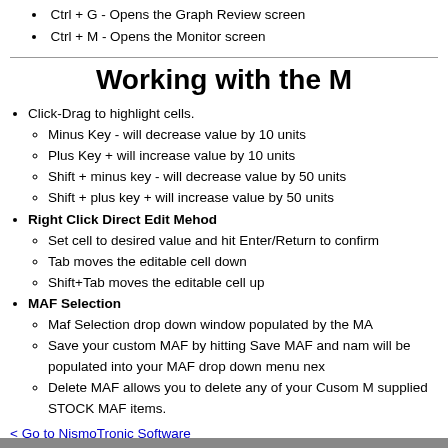Ctrl + G - Opens the Graph Review screen
Ctrl + M - Opens the Monitor screen
Working with the M
Click-Drag to highlight cells.
Minus Key - will decrease value by 10 units
Plus Key + will increase value by 10 units
Shift + minus key - will decrease value by 50 units
Shift + plus key + will increase value by 50 units
Right Click Direct Edit Mehod
Set cell to desired value and hit Enter/Return to confirm
Tab moves the editable cell down
Shift+Tab moves the editable cell up
MAF Selection
Maf Selection drop down window populated by the MA
Save your custom MAF by hitting Save MAF and name will be populated into your MAF drop down menu next
Delete MAF allows you to delete any of your Cusom M supplied STOCK MAF items.
< Go to NismoTronic Software